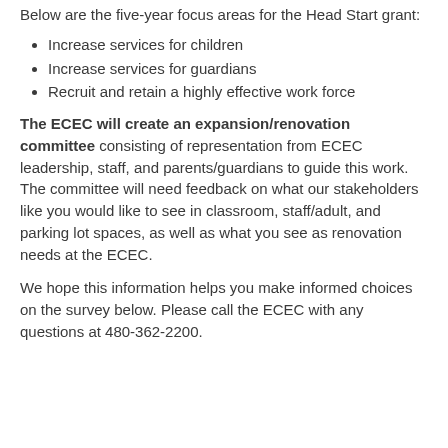Below are the five-year focus areas for the Head Start grant:
Increase services for children
Increase services for guardians
Recruit and retain a highly effective work force
The ECEC will create an expansion/renovation committee consisting of representation from ECEC leadership, staff, and parents/guardians to guide this work. The committee will need feedback on what our stakeholders like you would like to see in classroom, staff/adult, and parking lot spaces, as well as what you see as renovation needs at the ECEC.
We hope this information helps you make informed choices on the survey below. Please call the ECEC with any questions at 480-362-2200.